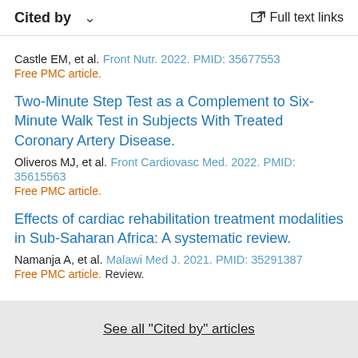Cited by   ∨   Full text links
Castle EM, et al. Front Nutr. 2022. PMID: 35677553
Free PMC article.
Two-Minute Step Test as a Complement to Six-Minute Walk Test in Subjects With Treated Coronary Artery Disease.
Oliveros MJ, et al. Front Cardiovasc Med. 2022. PMID: 35615563
Free PMC article.
Effects of cardiac rehabilitation treatment modalities in Sub-Saharan Africa: A systematic review.
Namanja A, et al. Malawi Med J. 2021. PMID: 35291387
Free PMC article. Review.
See all "Cited by" articles